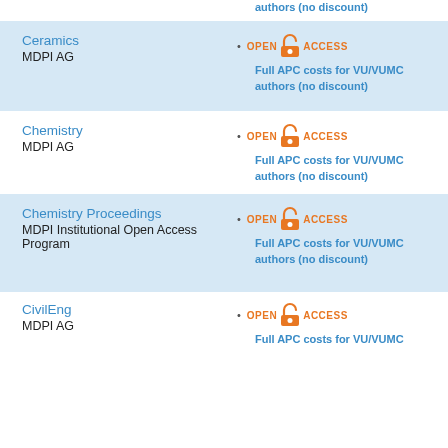authors (no discount)
Ceramics
MDPI AG
Full APC costs for VU/VUMC authors (no discount)
Chemistry
MDPI AG
Full APC costs for VU/VUMC authors (no discount)
Chemistry Proceedings
MDPI Institutional Open Access Program
Full APC costs for VU/VUMC authors (no discount)
CivilEng
MDPI AG
Full APC costs for VU/VUMC